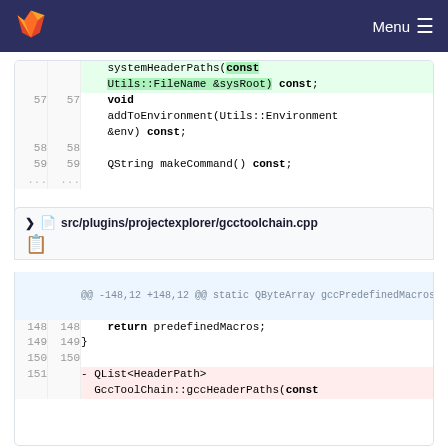GitLab Menu
[Figure (screenshot): Code diff panel 1 showing lines 57-59 and ellipsis of a C++ header file with systemHeaderPaths and addToEnvironment methods]
src/plugins/projectexplorer/gcctoolchain.cpp
[Figure (screenshot): Code diff panel 2 showing lines 148-151 of gcctoolchain.cpp with return predefinedMacros and QList<HeaderPath> GccToolChain::gccHeaderPaths changes]